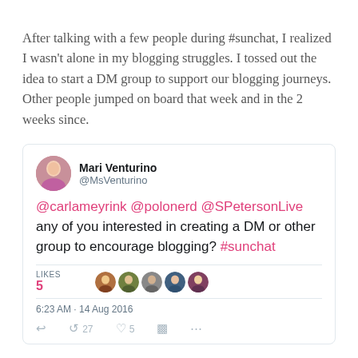After talking with a few people during #sunchat, I realized I wasn't alone in my blogging struggles. I tossed out the idea to start a DM group to support our blogging journeys. Other people jumped on board that week and in the 2 weeks since.
[Figure (screenshot): Embedded tweet from Mari Venturino (@MsVenturino) reading: '@carlameyrink @polonerd @SPetersonLive any of you interested in creating a DM or other group to encourage blogging? #sunchat'. Shows 5 likes with profile avatars, timestamp 6:23 AM - 14 Aug 2016, and action icons (reply, retweet, like 5, analytics, more).]
Our DM group is on fire, and we have quite a few people who have just started their blogging journey by posting their first